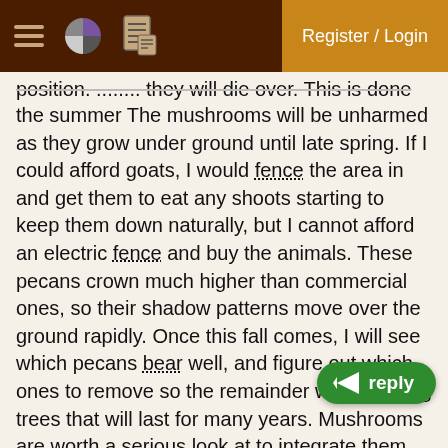Register / Login
position. ........ they will die over. This is done through the summer The mushrooms will be unharmed as they grow under ground until late spring. If I could afford goats, I would fence the area in and get them to eat any shoots starting to keep them down naturally, but I cannot afford an electric fence and buy the animals. These pecans crown much higher than commercial ones, so their shadow patterns move over the ground rapidly. Once this fall comes, I will see which pecans bear well, and figure out which ones to remove so the remainder will be strong trees that will last for many years. Mushrooms are worth a serious look at to integrate them into your forest garden. Later, when things settle down and the privet and memosa trees are under control, I will add muscadine grapes to grow up those tall and spindly pecan tree trunks as they do in the wild, and between the trees, with pine straw added as mulch to lower the pH, camellia sinensis (green [reply button] be added to harvest their leaves late spring and early summer. The lack of so much sun shine when the